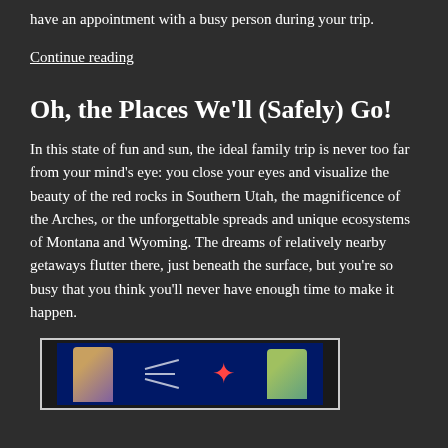have an appointment with a busy person during your trip.
Continue reading
Oh, the Places We'll (Safely) Go!
In this state of fun and sun, the ideal family trip is never too far from your mind's eye: you close your eyes and visualize the beauty of the red rocks in Southern Utah, the magnificence of the Arches, or the unforgettable spreads and unique ecosystems of Montana and Wyoming. The dreams of relatively nearby getaways flutter there, just beneath the surface, but you're so busy that you think you'll never have enough time to make it happen.
[Figure (illustration): Illustrated image with two cartoon figures and a red landmark/tower against a dark blue background, with white light beams, bordered by a light gray/white frame.]